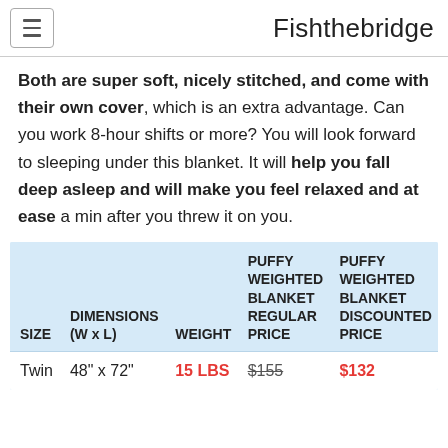Fishthebridge
Both are super soft, nicely stitched, and come with their own cover, which is an extra advantage. Can you work 8-hour shifts or more? You will look forward to sleeping under this blanket. It will help you fall deep asleep and will make you feel relaxed and at ease a min after you threw it on you.
| SIZE | DIMENSIONS (W x L) | WEIGHT | PUFFY WEIGHTED BLANKET REGULAR PRICE | PUFFY WEIGHTED BLANKET DISCOUNTED PRICE |
| --- | --- | --- | --- | --- |
| Twin | 48" x 72" | 15 LBS | $155 | $132 |